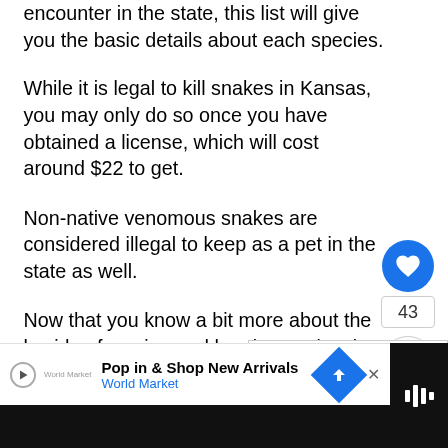encounter in the state, this list will give you the basic details about each species.
While it is legal to kill snakes in Kansas, you may only do so once you have obtained a license, which will cost around $22 to get.
Non-native venomous snakes are considered illegal to keep as a pet in the state as well.
Now that you know a bit more about the le side of owning and hunting snakes in Kansas, here is a list of the snake species th Kansas:
[Figure (screenshot): UI overlay with heart/like button showing 43 likes, share button, and What's Next banner for Snakes in Montana]
[Figure (screenshot): Advertisement bar: Pop in & Shop New Arrivals - World Market with navigation arrow icon]
[Figure (screenshot): Black strip on right with audio/video icon]